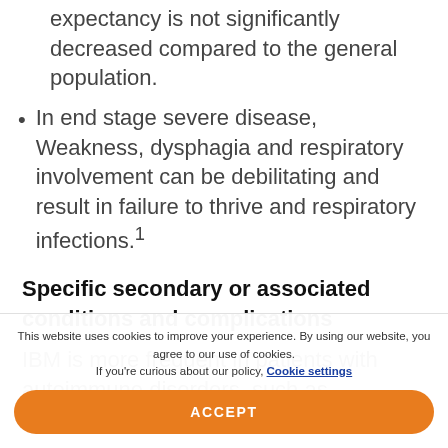expectancy is not significantly decreased compared to the general population.
In end stage severe disease, Weakness, dysphagia and respiratory involvement can be debilitating and result in failure to thrive and respiratory infections.¹
Specific secondary or associated conditions and complications
IBM is more frequent in patients with autoimmune disorders, such as rheumatoid
This website uses cookies to improve your experience. By using our website, you agree to our use of cookies. If you're curious about our policy, Cookie settings
ACCEPT